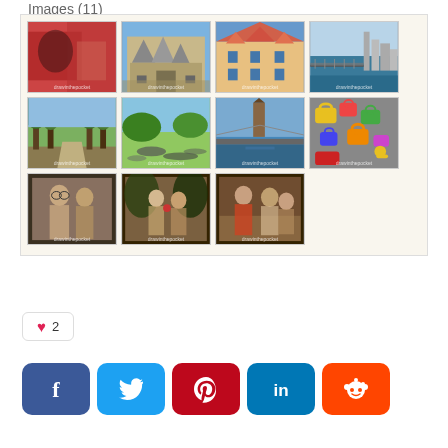Images (11)
[Figure (photo): Gallery of 11 thumbnail photos arranged in a 4-4-3 grid layout inside a beige/cream box. Row 1: reddish-tinted indoor photo, gothic building facade (Römer Frankfurt), colorful building facade, river/bridge skyline. Row 2: tree-lined path, people relaxing on grass park, bridge over river with church tower, colorful padlocks. Row 3: portrait painting of two figures, classical painting of Adam and Eve, classical painting of mythological figures.]
♥  2
[Figure (infographic): Social media share buttons row: Facebook (dark blue, f icon), Twitter (sky blue, bird icon), Pinterest (red, P icon), LinkedIn (teal, in icon), Reddit (orange-red, alien icon)]